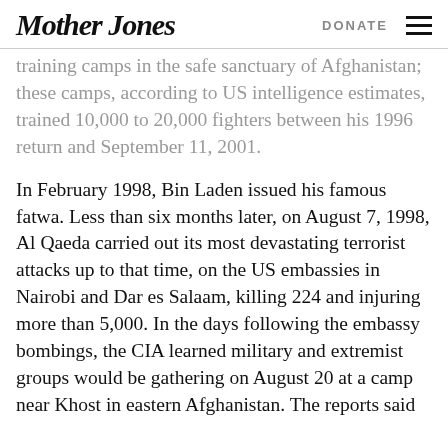Mother Jones   DONATE
training camps in the safe sanctuary of Afghanistan; these camps, according to US intelligence estimates, trained 10,000 to 20,000 fighters between his 1996 return and September 11, 2001.
In February 1998, Bin Laden issued his famous fatwa. Less than six months later, on August 7, 1998, Al Qaeda carried out its most devastating terrorist attacks up to that time, on the US embassies in Nairobi and Dar es Salaam, killing 224 and injuring more than 5,000. In the days following the embassy bombings, the CIA learned military and extremist groups would be gathering on August 20 at a camp near Khost in eastern Afghanistan. The reports said